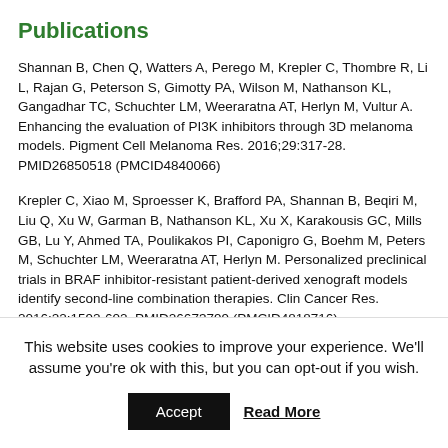Publications
Shannan B, Chen Q, Watters A, Perego M, Krepler C, Thombre R, Li L, Rajan G, Peterson S, Gimotty PA, Wilson M, Nathanson KL, Gangadhar TC, Schuchter LM, Weeraratna AT, Herlyn M, Vultur A. Enhancing the evaluation of PI3K inhibitors through 3D melanoma models. Pigment Cell Melanoma Res. 2016;29:317-28. PMID26850518 (PMCID4840066)
Krepler C, Xiao M, Sproesser K, Brafford PA, Shannan B, Beqiri M, Liu Q, Xu W, Garman B, Nathanson KL, Xu X, Karakousis GC, Mills GB, Lu Y, Ahmed TA, Poulikakos PI, Caponigro G, Boehm M, Peters M, Schuchter LM, Weeraratna AT, Herlyn M. Personalized preclinical trials in BRAF inhibitor-resistant patient-derived xenograft models identify second-line combination therapies. Clin Cancer Res. 2016;22:1592-602. PMID26673799 (PMCID4818716)
Brafford P, Sproessor K, Krepler C, Herlyn M. 1205Lu is human
This website uses cookies to improve your experience. We'll assume you're ok with this, but you can opt-out if you wish.